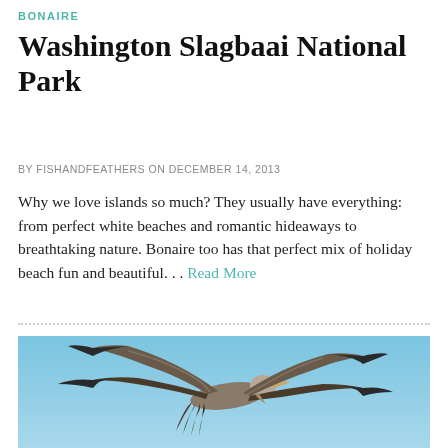BONAIRE
Washington Slagbaai National Park
BY FISHANDFEATHERS ON DECEMBER 14, 2013
Why we love islands so much? They usually have everything: from perfect white beaches and romantic hideaways to breathtaking nature. Bonaire too has that perfect mix of holiday beach fun and beautiful... Read More
[Figure (photo): A large bird (pelican or similar seabird) captured mid-flight against a clear blue sky, wings spread wide, viewed from below/side.]